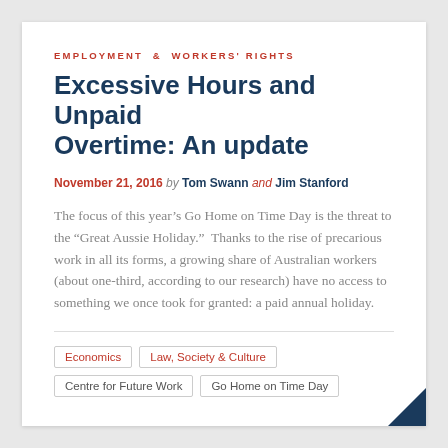EMPLOYMENT & WORKERS' RIGHTS
Excessive Hours and Unpaid Overtime: An update
November 21, 2016 by Tom Swann and Jim Stanford
The focus of this year’s Go Home on Time Day is the threat to the “Great Aussie Holiday.”  Thanks to the rise of precarious work in all its forms, a growing share of Australian workers (about one-third, according to our research) have no access to something we once took for granted: a paid annual holiday.
Economics
Law, Society & Culture
Centre for Future Work
Go Home on Time Day